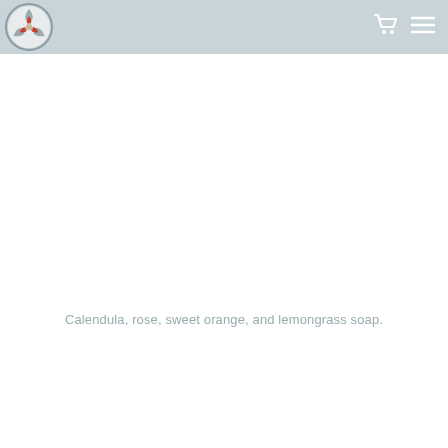[Figure (logo): Circular logo with a geometric mandala-style design featuring red, gray, and beige segments arranged in a flower/knot pattern, with a gray circular border]
[Figure (other): Shopping cart icon in white]
[Figure (other): Hamburger menu icon (three horizontal lines) in white]
Calendula, rose, sweet orange, and lemongrass soap.